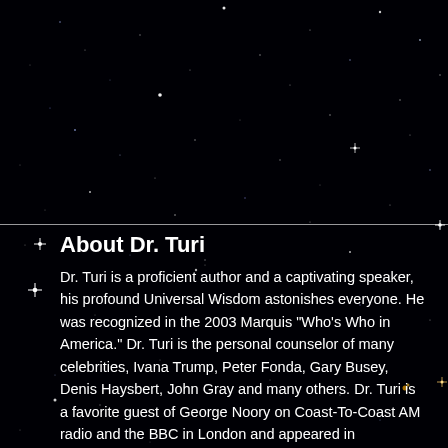[Figure (photo): Dark starfield background image showing scattered white and blue stars against a black night sky]
About Dr. Turi
Dr. Turi is a proficient author and a captivating speaker, his profound Universal Wisdom astonishes everyone. He was recognized in the 2003 Marquis "Who's Who in America." Dr. Turi is the personal counselor of many celebrities, Ivana Trump, Peter Fonda, Gary Busey, Denis Haysbert, John Gray and many others. Dr. Turi is a favorite guest of George Noory on Coast-To-Coast AM radio and the BBC in London and appeared in